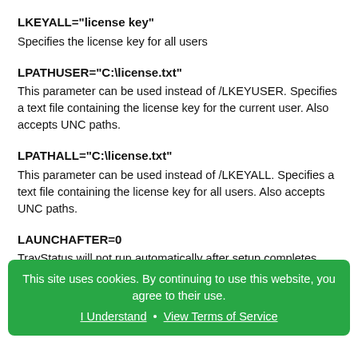LKEYALL="license key"
Specifies the license key for all users
LPATHUSER="C:\license.txt"
This parameter can be used instead of /LKEYUSER. Specifies a text file containing the license key for the current user. Also accepts UNC paths.
LPATHALL="C:\license.txt"
This parameter can be used instead of /LKEYALL. Specifies a text file containing the license key for all users. Also accepts UNC paths.
LAUNCHAFTER=0
TrayStatus will not run automatically after setup completes.
TASKS="desktopicon |desktopicon\common |desktopicon\user"
This site uses cookies. By continuing to use this website, you agree to their use.
I Understand • View Terms of Service